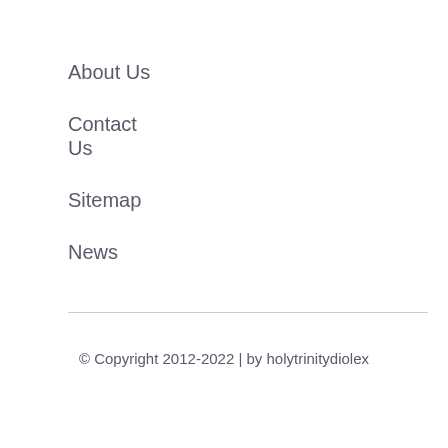About Us
Contact Us
Sitemap
News
© Copyright 2012-2022 | by holytrinitydiolex